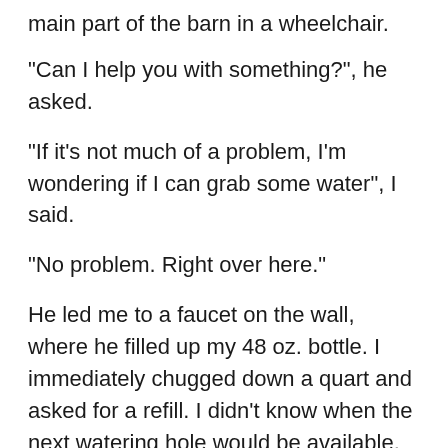main part of the barn in a wheelchair.
“Can I help you with something?”, he asked.
“If it’s not much of a problem, I’m wondering if I can grab some water”, I said.
“No problem. Right over here.”
He led me to a faucet on the wall, where he filled up my 48 oz. bottle. I immediately chugged down a quart and asked for a refill. I didn’t know when the next watering hole would be available. So he didn’t think I was a completely crazy person, I told him I’d gotten turned around on the trail and was making my way back to my van.
I wanted to honor the man’s time and let him get back to his chores. I’d worked on two farms. I knew it was a full-time job trying to stay even with everything that needed to be done. At the same time, I was curious about what it was like to run a large farm in Pennsylvania. What the pressures were,